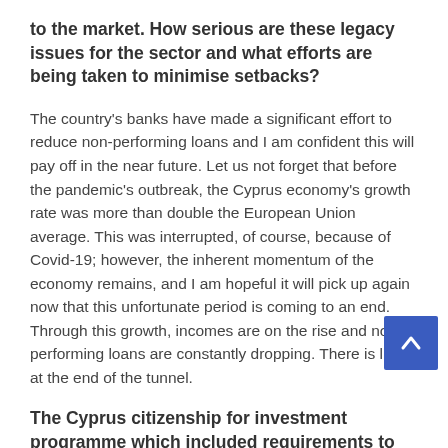to the market. How serious are these legacy issues for the sector and what efforts are being taken to minimise setbacks?
The country's banks have made a significant effort to reduce non-performing loans and I am confident this will pay off in the near future. Let us not forget that before the pandemic's outbreak, the Cyprus economy's growth rate was more than double the European Union average. This was interrupted, of course, because of Covid-19; however, the inherent momentum of the economy remains, and I am hopeful it will pick up again now that this unfortunate period is coming to an end. Through this growth, incomes are on the rise and non-performing loans are constantly dropping. There is light at the end of the tunnel.
The Cyprus citizenship for investment programme which included requirements to invest in property offered a